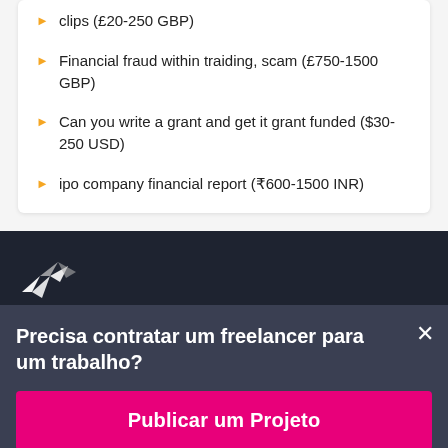clips (£20-250 GBP)
Financial fraud within traiding, scam (£750-1500 GBP)
Can you write a grant and get it grant funded ($30-250 USD)
ipo company financial report (₹600-1500 INR)
[Figure (logo): Freelancer.com hummingbird/bird logo in white on dark background]
Precisa contratar um freelancer para um trabalho?
Publicar um Projeto